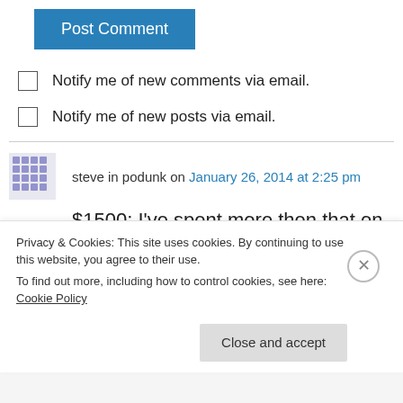Post Comment
Notify me of new comments via email.
Notify me of new posts via email.
steve in podunk on January 26, 2014 at 2:25 pm
$1500; I've spent more then that on a night out carousing (pre-recession of course) I can't imagine myself driving that on the freeways of
Privacy & Cookies: This site uses cookies. By continuing to use this website, you agree to their use.
To find out more, including how to control cookies, see here: Cookie Policy
Close and accept